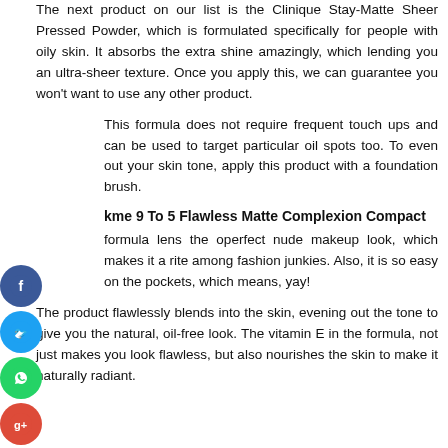The next product on our list is the Clinique Stay-Matte Sheer Pressed Powder, which is formulated specifically for people with oily skin. It absorbs the extra shine amazingly, which lending you an ultra-sheer texture. Once you apply this, we can guarantee you won't want to use any other product.
This formula does not require frequent touch ups and can be used to target particular oil spots too. To even out your skin tone, apply this product with a foundation brush.
Lakme 9 To 5 Flawless Matte Complexion Compact
Its formula lens the operfect nude makeup look, which makes it a favourite among fashion junkies. Also, it is so easy on the pockets, which means, yay!
The product flawlessly blends into the skin, evening out the tone to give you the natural, oil-free look. The vitamin E in the formula, not just makes you look flawless, but also nourishes the skin to make it naturally radiant.